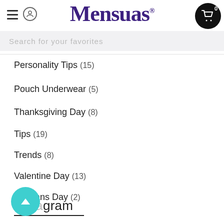Mensuas
Personality Tips (15)
Pouch Underwear (5)
Thanksgiving Day (8)
Tips (19)
Trends (8)
Valentine Day (13)
Veterans Day (2)
Instagram